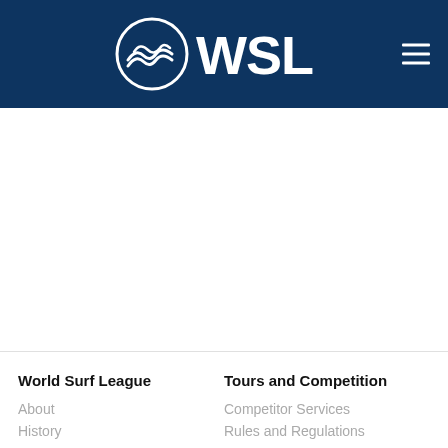WSL World Surf League header with logo and navigation menu
[Figure (logo): WSL World Surf League logo — circular wave icon with WSL text in white on dark blue background]
World Surf League
About
History
Tours and Competition
Competitor Services
Rules and Regulations